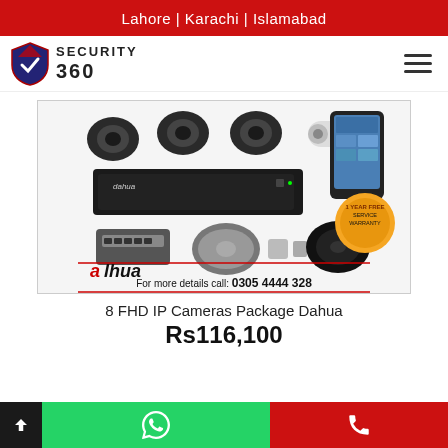Lahore | Karachi | Islamabad
[Figure (logo): Security 360 shield logo with text SECURITY 360]
[Figure (photo): Dahua 8 FHD IP Cameras package product image showing cameras, DVR, HDD, cables, switch, and a phone displaying footage. Includes '1 Year Free Service Warranty' badge and call number 0305 4444 328. Dahua branding visible.]
8 FHD IP Cameras Package Dahua
Rs116,100